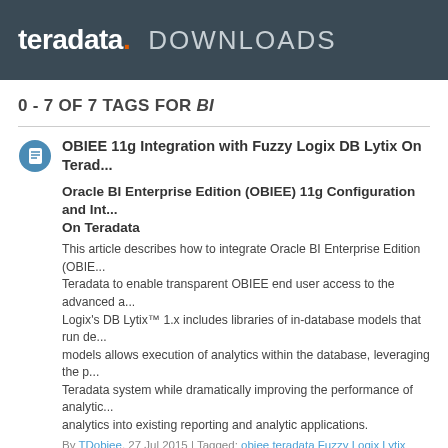teradata. DOWNLOADS
0 - 7 OF 7 TAGS FOR BI
OBIEE 11g Integration with Fuzzy Logix DB Lytix On Terad...
Oracle BI Enterprise Edition (OBIEE) 11g Configuration and Int... On Teradata
This article describes how to integrate Oracle BI Enterprise Edition (OBIE... Teradata to enable transparent OBIEE end user access to the advanced a... Logix's DB Lytix™ 1.x includes libraries of in-database models that run de... models allows execution of analytics within the database, leveraging the p... Teradata system while dramatically improving the performance of analytic... analytics into existing reporting and analytic applications.
By TDobiee, 27 Jul 2015 | Tagged: obiee teradata Fuzzy Logix Lytix oracle bi v_applicati...
Teradata & Tableau BI DashBoard performance suggesssio...
Hi Masters,
By rrao1006, 10 Apr 2014 | Tagged: teradata tableau bi dashboard sap data services